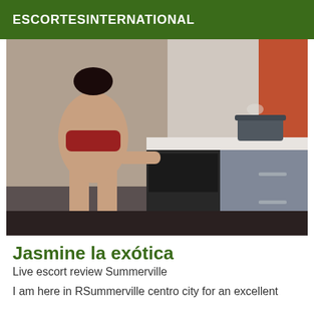ESCORTESINTERNATIONAL
[Figure (photo): A person standing in a kitchen viewed from behind, near an oven, with kitchen counters and appliances visible.]
Jasmine la exótica
Live escort review Summerville
I am here in RSummerville centro city for an excellent